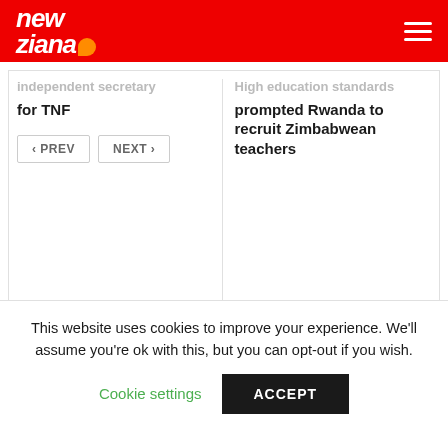new ziana
independent secretary for TNF
High education standards prompted Rwanda to recruit Zimbabwean teachers
PREV  NEXT
Comments are closed.
This website uses cookies to improve your experience. We'll assume you're ok with this, but you can opt-out if you wish.
Cookie settings  ACCEPT